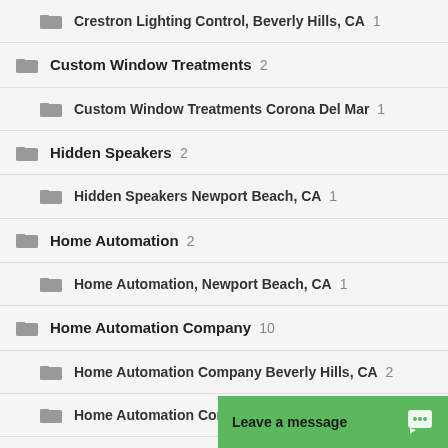Crestron Lighting Control, Beverly Hills, CA 1
Custom Window Treatments 2
Custom Window Treatments Corona Del Mar 1
Hidden Speakers 2
Hidden Speakers Newport Beach, CA 1
Home Automation 2
Home Automation, Newport Beach, CA 1
Home Automation Company 10
Home Automation Company Beverly Hills, CA 2
Home Automation Company Corona Del Mar, CA 1
Home Automati…